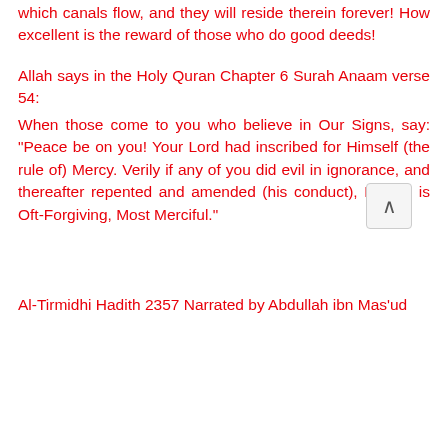which canals flow, and they will reside therein forever! How excellent is the reward of those who do good deeds!
Allah says in the Holy Quran Chapter 6 Surah Anaam verse 54: When those come to you who believe in Our Signs, say: "Peace be on you! Your Lord had inscribed for Himself (the rule of) Mercy. Verily if any of you did evil in ignorance, and thereafter repented and amended (his conduct), Lo! He is Oft-Forgiving, Most Merciful."
Al-Tirmidhi Hadith 2357 Narrated by Abdullah ibn Mas'ud